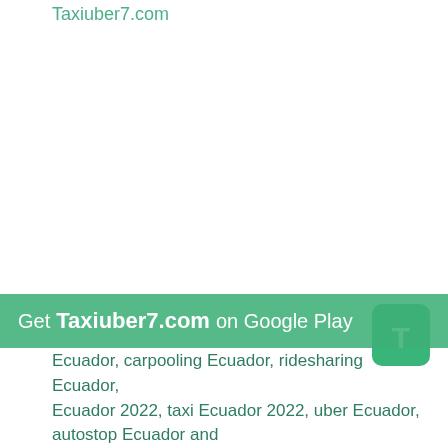Taxiuber7.com
Ecuador, carpooling Ecuador, ridesharing Ecuador, Ecuador 2022, taxi Ecuador 2022, uber Ecuador, autostop Ecuador and
[Figure (other): Green rounded rectangle button with white letter T]
Get Taxiuber7.com on Google Play